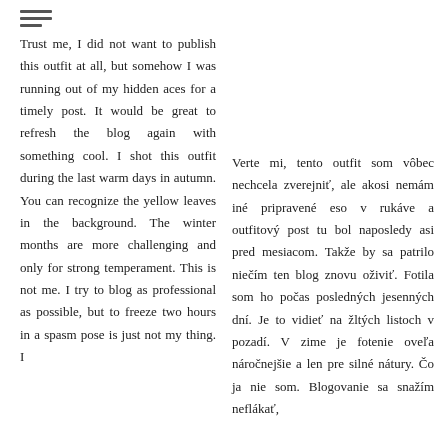Trust me, I did not want to publish this outfit at all, but somehow I was running out of my hidden aces for a timely post. It would be great to refresh the blog again with something cool. I shot this outfit during the last warm days in autumn. You can recognize the yellow leaves in the background. The winter months are more challenging and only for strong temperament. This is not me. I try to blog as professional as possible, but to freeze two hours in a spasm pose is just not my thing. I
Verte mi, tento outfit som vôbec nechcela zverejniť, ale akosi nemám iné pripravené eso v rukáve a outfitový post tu bol naposledy asi pred mesiacom. Takže by sa patrilo niečím ten blog znovu oživiť. Fotila som ho počas posledných jesenných dní. Je to vidieť na žltých listoch v pozadí. V zime je fotenie oveľa náročnejšie a len pre silné nátury. Čo ja nie som. Blogovanie sa snažím neflákať,